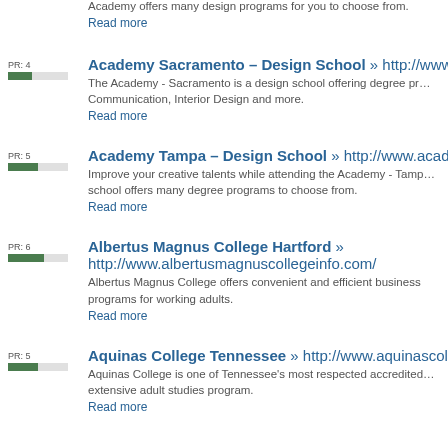Academy offers many design programs for you to choose from.
Read more
Academy Sacramento – Design School » http://www.ia... The Academy - Sacramento is a design school offering degree pr... Communication, Interior Design and more.
Read more
Academy Tampa – Design School » http://www.academ... Improve your creative talents while attending the Academy - Tamp... school offers many degree programs to choose from.
Read more
Albertus Magnus College Hartford » http://www.albertusmagnuscollegeinfo.com/ Albertus Magnus College offers convenient and efficient business programs for working adults.
Read more
Aquinas College Tennessee » http://www.aquinascolle... Aquinas College is one of Tennessee's most respected accredited... extensive adult studies program.
Read more